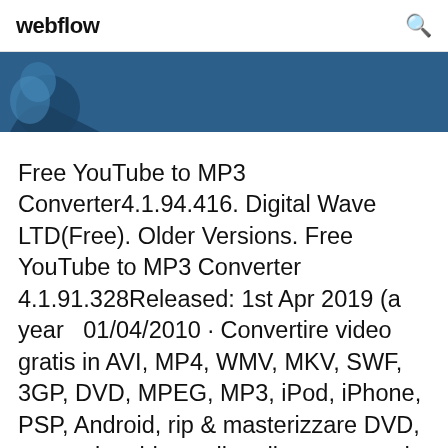webflow
[Figure (illustration): Dark blue banner with a partial figure/silhouette visible on the left side]
Free YouTube to MP3 Converter4.1.94.416. Digital Wave LTD(Free). Older Versions. Free YouTube to MP3 Converter 4.1.91.328Released: 1st Apr 2019 (a year  01/04/2010 · Convertire video gratis in AVI, MP4, WMV, MKV, SWF, 3GP, DVD, MPEG, MP3, iPod, iPhone, PSP, Android, rip & masterizzare DVD, convertire video online direttamente da 40 + siti,